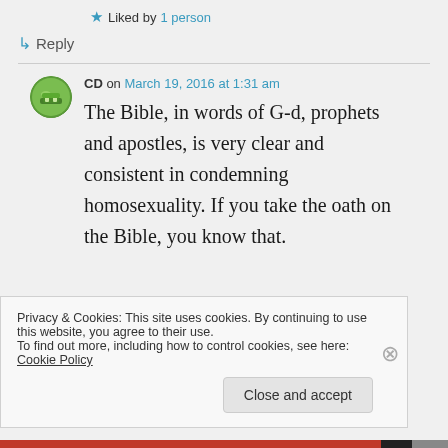★ Liked by 1 person
↳ Reply
CD on March 19, 2016 at 1:31 am
The Bible, in words of G-d, prophets and apostles, is very clear and consistent in condemning homosexuality. If you take the oath on the Bible, you know that.
Privacy & Cookies: This site uses cookies. By continuing to use this website, you agree to their use.
To find out more, including how to control cookies, see here: Cookie Policy
Close and accept